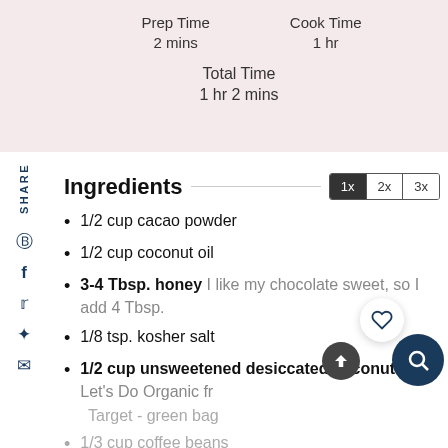Prep Time
2 mins
Cook Time
1 hr
Total Time
1 hr 2 mins
Ingredients
1/2 cup cacao powder
1/2 cup coconut oil
3-4 Tbsp. honey I like my chocolate sweet, so I add 4 Tbsp.
1/8 tsp. kosher salt
1/2 cup unsweetened desiccated coconut I use Let's Do Organic fr Target - green bag
1/3 cup coffee beans